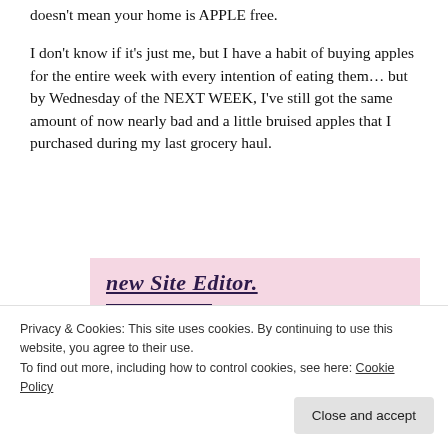doesn't mean your home is APPLE free.
I don't know if it's just me, but I have a habit of buying apples for the entire week with every intention of eating them... but by Wednesday of the NEXT WEEK, I've still got the same amount of now nearly bad and a little bruised apples that I purchased during my last grocery haul.
[Figure (screenshot): Pink advertisement banner with text 'new Site Editor.' in dark purple serif italic underlined font, and a dark purple 'Start Today' button below.]
Privacy & Cookies: This site uses cookies. By continuing to use this website, you agree to their use.
To find out more, including how to control cookies, see here: Cookie Policy
Close and accept